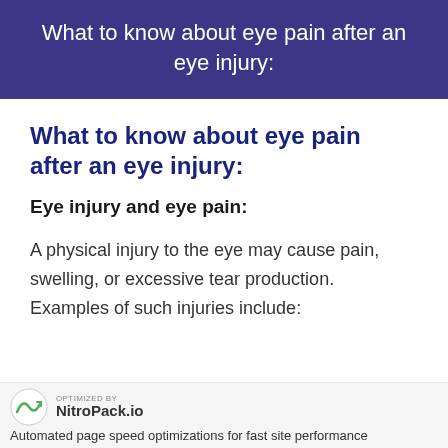What to know about eye pain after an eye injury:
What to know about eye pain after an eye injury:
Eye injury and eye pain:
A physical injury to the eye may cause pain, swelling, or excessive tear production. Examples of such injuries include:
OPTIMIZED BY NitroPack.io Automated page speed optimizations for fast site performance